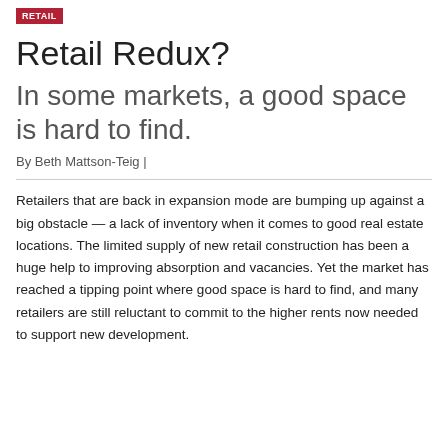RETAIL
Retail Redux?
In some markets, a good space is hard to find.
By Beth Mattson-Teig |
Retailers that are back in expansion mode are bumping up against a big obstacle — a lack of inventory when it comes to good real estate locations. The limited supply of new retail construction has been a huge help to improving absorption and vacancies. Yet the market has reached a tipping point where good space is hard to find, and many retailers are still reluctant to commit to the higher rents now needed to support new development.